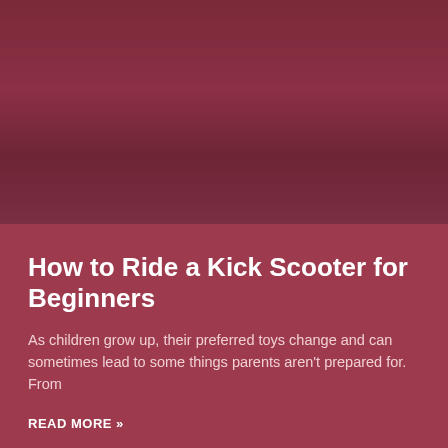[Figure (photo): Dark maroon/burgundy colored background image, likely a photo of a kick scooter or related scene, rendered in deep red tones.]
How to Ride a Kick Scooter for Beginners
As children grow up, their preferred toys change and can sometimes lead to some things parents aren't prepared for. From
READ MORE »